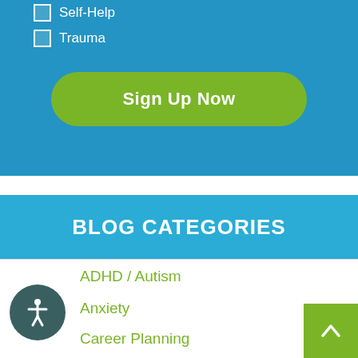Self-Help
Trauma
Sign Up Now
BLOG CATEGORIES
ADHD / Autism
Anxiety
Career Planning